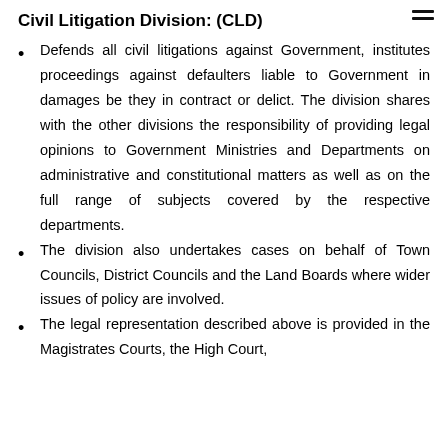Civil Litigation Division: (CLD)
Defends all civil litigations against Government, institutes proceedings against defaulters liable to Government in damages be they in contract or delict. The division shares with the other divisions the responsibility of providing legal opinions to Government Ministries and Departments on administrative and constitutional matters as well as on the full range of subjects covered by the respective departments.
The division also undertakes cases on behalf of Town Councils, District Councils and the Land Boards where wider issues of policy are involved.
The legal representation described above is provided in the Magistrates Courts, the High Court,